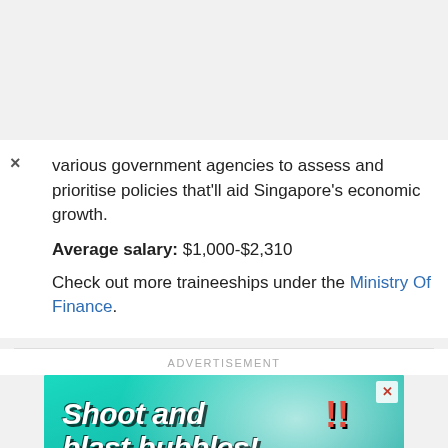various government agencies to assess and prioritise policies that'll aid Singapore's economic growth.
Average salary: $1,000-$2,310
Check out more traineeships under the Ministry Of Finance.
[Figure (infographic): Advertisement banner for a bubble shooting mobile game titled 'Shoot and blast bubbles!' with 'Play Now' button on green background, cartoon bear character, coins, and colorful bubbles. Bottom text shows partial game title 'Bubble Sh...'.]